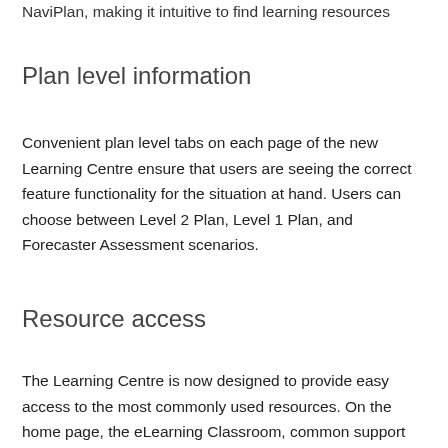NaviPlan, making it intuitive to find learning resources
Plan level information
Convenient plan level tabs on each page of the new Learning Centre ensure that users are seeing the correct feature functionality for the situation at hand. Users can choose between Level 2 Plan, Level 1 Plan, and Forecaster Assessment scenarios.
Resource access
The Learning Centre is now designed to provide easy access to the most commonly used resources. On the home page, the eLearning Classroom, common support